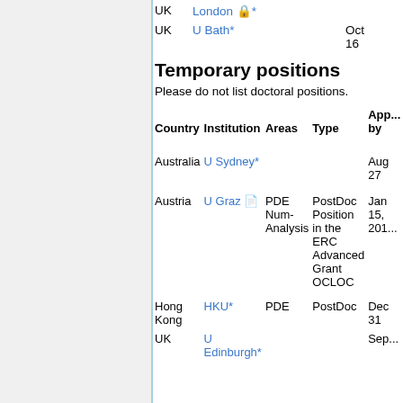| Country | Institution | Areas | Type | App... by |
| --- | --- | --- | --- | --- |
| UK | London 🔒* |  |  |  |
| UK | U Bath* |  |  | Oct 16 |
Temporary positions
Please do not list doctoral positions.
| Country | Institution | Areas | Type | App... by |
| --- | --- | --- | --- | --- |
| Australia | U Sydney* |  |  | Aug 27 |
| Austria | U Graz 📄 | PDE Num-Analysis | PostDoc Position in the ERC Advanced Grant OCLOC | Jan 15, 201... |
| Hong Kong | HKU* | PDE | PostDoc | Dec 31 |
| UK | U Edinburgh* |  |  | Sep... |